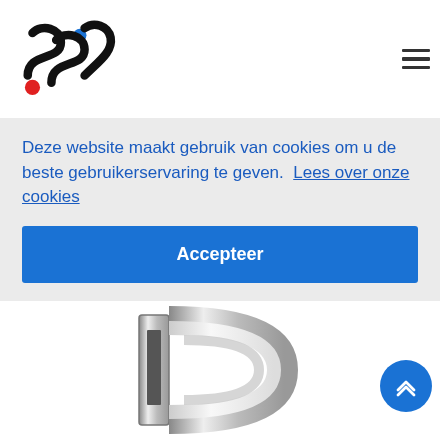[Figure (logo): SSC company logo with red dot, blue dot, and stylized letters]
Deze website maakt gebruik van cookies om u de beste gebruikerservaring te geven.  Lees over onze cookies
Accepteer
A 88
00226718
[Figure (photo): Chrome and white plastic Y-shaped vegetable peeler on white background]